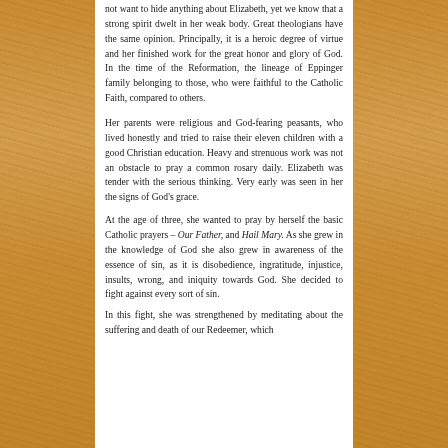not want to hide anything about Elizabeth, yet we know that a strong spirit dwelt in her weak body. Great theologians have the same opinion. Principally, it is a heroic degree of virtue and her finished work for the great honor and glory of God. In the time of the Reformation, the lineage of Eppinger family belonging to those, who were faithful to the Catholic Faith, compared to others.
Her parents were religious and God-fearing peasants, who lived honestly and tried to raise their eleven children with a good Christian education. Heavy and strenuous work was not an obstacle to pray a common rosary daily. Elizabeth was tender with the serious thinking. Very early was seen in her the signs of God's grace.
At the age of three, she wanted to pray by herself the basic Catholic prayers – Our Father, and Hail Mary. As she grew in the knowledge of God she also grew in awareness of the essence of sin, as it is disobedience, ingratitude, injustice, insults, wrong, and iniquity towards God. She decided to fight against every sort of sin.
In this fight, she was strengthened by meditating about the suffering and death of our Redeemer, which